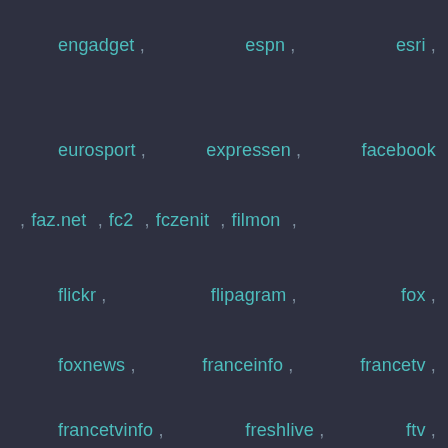engadget , espn , esri ,
eurosport , expressen , facebook
, faz.net , fc2 , fczenit , filmon ,
flickr , flipagram , fox ,
foxnews , franceinfo , francetv ,
francetvinfo , freshlive , ftv ,
funnyordie , gameinformer ,
gamespot , gazeta , gfycat ,